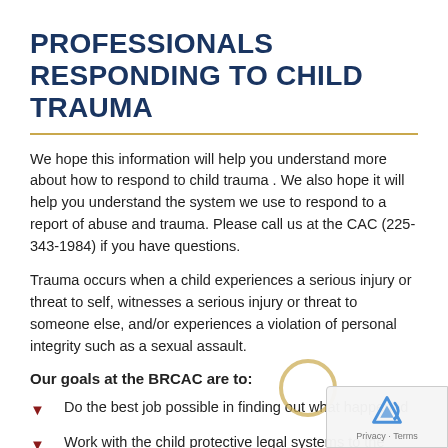PROFESSIONALS RESPONDING TO CHILD TRAUMA
We hope this information will help you understand more about how to respond to child trauma . We also hope it will help you understand the system we use to respond to a report of abuse and trauma. Please call us at the CAC (225-343-1984) if you have questions.
Trauma occurs when a child experiences a serious injury or threat to self, witnesses a serious injury or threat to someone else, and/or experiences a violation of personal integrity such as a sexual assault.
Our goals at the BRCAC are to:
Do the best job possible in finding out what happened
Work with the child protective legal systems to the child